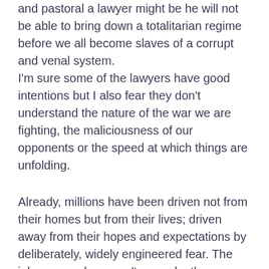and pastoral a lawyer might be he will not be able to bring down a totalitarian regime before we all become slaves of a corrupt and venal system. I'm sure some of the lawyers have good intentions but I also fear they don't understand the nature of the war we are fighting, the maliciousness of our opponents or the speed at which things are unfolding.
Already, millions have been driven not from their homes but from their lives; driven away from their hopes and expectations by deliberately, widely engineered fear. The jabs, remember, aren't an end – they are just a beginning.